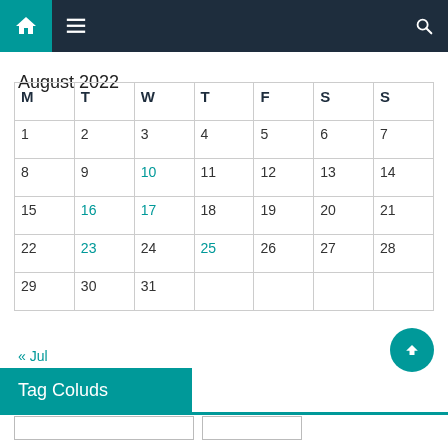Navigation bar with home, menu, and search icons
August 2022
| M | T | W | T | F | S | S |
| --- | --- | --- | --- | --- | --- | --- |
| 1 | 2 | 3 | 4 | 5 | 6 | 7 |
| 8 | 9 | 10 | 11 | 12 | 13 | 14 |
| 15 | 16 | 17 | 18 | 19 | 20 | 21 |
| 22 | 23 | 24 | 25 | 26 | 27 | 28 |
| 29 | 30 | 31 |  |  |  |  |
« Jul
Tag Coluds